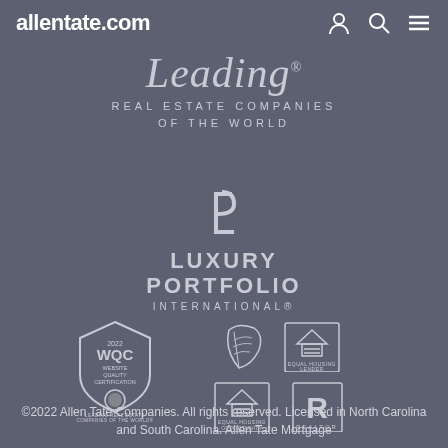allentate.com
[Figure (logo): Leading Real Estate Companies of the World script logo with subtitle]
[Figure (logo): Luxury Portfolio International logo with LP monogram]
[Figure (logo): Collection of certification and compliance badges: WQC 2022 Website Quality Certification, Leading Real Estate Companies of the World, Equal Housing Lender, Equal Housing Opportunity, Realtor logo, and a feather/bird icon]
©2022 Allen Tate Companies. All rights reserved. Licensed in North Carolina and South Carolina. Allen Tate Mortgage